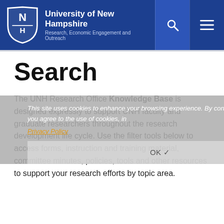University of New Hampshire — Research, Economic Engagement and Outreach
Search
The UNH Research Office Knowledge Base is designed expressly to support UNH faculty and graduate researchers throughout the research development life cycle. Use the filter tools below to access forms, instruction and training material, committee minutes, policies, tools and other resources to support your research efforts by topic area.
This site uses cookies to enhance your browsing experience. By continuing to use this site, you agree to the use of cookies, in
Privacy Policy
OK ✓
If you are unsure of the Type/Category/Topic please choose - Any-